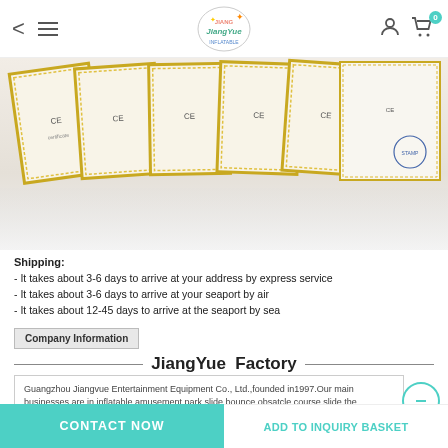JiangYue Factory website navigation bar with back arrow, hamburger menu, logo, user icon, and cart (0)
[Figure (photo): Row of CE certification documents with ornate gold decorative borders, arranged in overlapping fan layout]
Shipping:
- It takes about 3-6 days to arrive at your address by express service
- It takes about 3-6 days to arrive at your seaport by air
- It takes about 12-45 days to arrive at the seaport by sea
Company Information
JiangYue  Factory
Guangzhou Jiangvue Entertainment Equipment Co., Ltd.,founded in1997.Our main businesses are in inflatable amusement park,slide,bounce,obsatcle course,slide the city,water toys,sport game, inflatable tents, advertising inflatable ect.
JiangYue upholds the "quality of survival", " integrity and development" , looking forward to cooperate sincerely with customers at home and abroad to realize a win-win situation and mutual development.
CONTACT NOW | ADD TO INQUIRY BASKET